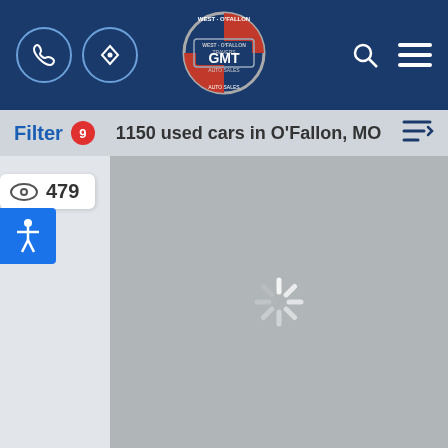[Figure (screenshot): GMT auto sales dealer website header with logo, phone icon, directions icon, search icon, and hamburger menu on dark blue background]
Filter 9   1150 used cars in O'Fallon, MO
479
[Figure (screenshot): Gray loading placeholder card with spinning loader icon in center, representing a vehicle listing that is loading]